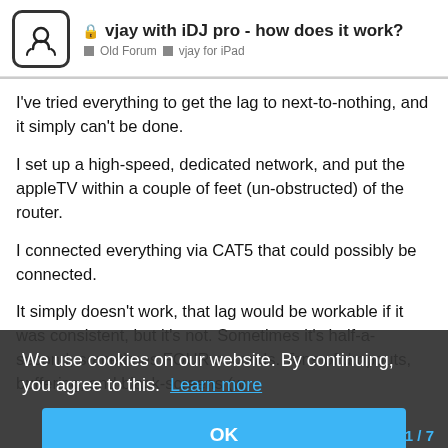vjay with iDJ pro - how does it work? | Old Forum > vjay for iPad
I've tried everything to get the lag to next-to-nothing, and it simply can't be done.
I set up a high-speed, dedicated network, and put the appleTV within a couple of feet (un-obstructed) of the router.
I connected everything via CAT5 that could possibly be connected.
It simply doesn't work, that lag would be workable if it was consistent, but it's not. Sometimes it's half-a-second, sometimes FOUR seconds. Tons of dropouts, buffering, and black-screens (which means that you're not allowing any video to buffer, because you're mixing live. Until there is a way to send video out via a cabled connection (zero lag) it's useless.
TRUST ME, I went to the apple store almost a dozen times purchasing equipment, and returning it late
work.
We use cookies on our website. By continuing, you agree to this.  Learn more
OK
1/7